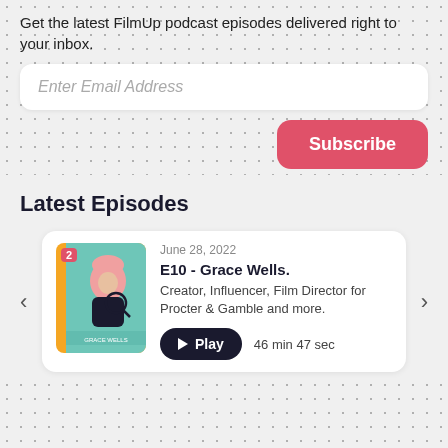Get the latest FilmUp podcast episodes delivered right to your inbox.
[Figure (other): Email input field with placeholder text 'Enter Email Address' on white rounded rectangle background]
[Figure (other): Red Subscribe button]
Latest Episodes
[Figure (other): Episode card showing episode E10 - Grace Wells with podcast artwork thumbnail numbered 2, date June 28 2022, description 'Creator, Influencer, Film Director for Procter & Gamble and more.', Play button and duration 46 min 47 sec. Carousel navigation arrows on left and right.]